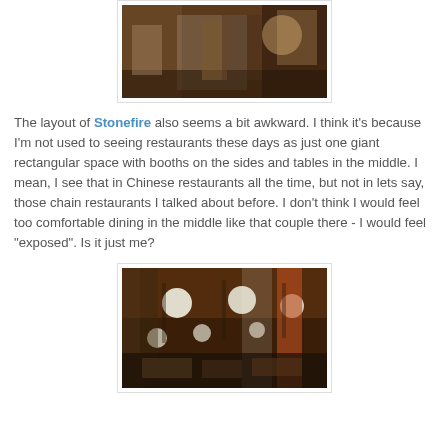[Figure (photo): Restaurant interior photo showing people seated at tables with white chairs and dark wood flooring, with a lit display case in the background.]
The layout of Stonefire also seems a bit awkward. I think it's because I'm not used to seeing restaurants these days as just one giant rectangular space with booths on the sides and tables in the middle. I mean, I see that in Chinese restaurants all the time, but not in lets say, those chain restaurants I talked about before. I don't think I would feel too comfortable dining in the middle like that couple there - I would feel "exposed". Is it just me?
[Figure (photo): Restaurant interior photo showing a wide view of the dining room with round pendant lights on the ceiling, curtained walls, and many diners seated at tables.]